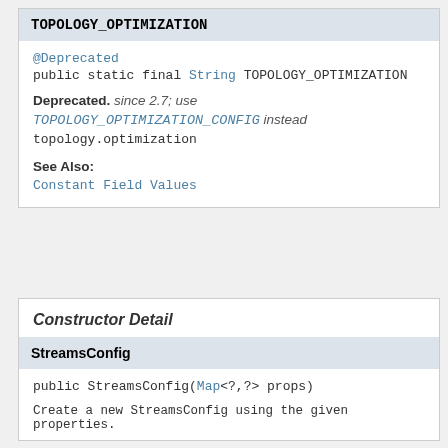TOPOLOGY_OPTIMIZATION
@Deprecated
public static final String TOPOLOGY_OPTIMIZATION
Deprecated. since 2.7; use TOPOLOGY_OPTIMIZATION_CONFIG instead
topology.optimization
See Also:
Constant Field Values
Constructor Detail
StreamsConfig
public StreamsConfig(Map<?,?> props)
Create a new StreamsConfig using the given properties.